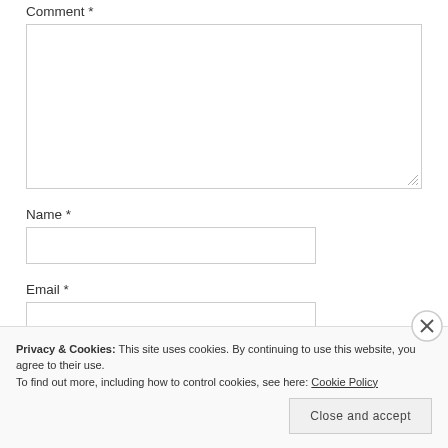Comment *
[Figure (screenshot): Empty comment textarea input box with resize handle in bottom-right corner]
Name *
[Figure (screenshot): Empty Name text input box]
Email *
[Figure (screenshot): Empty Email text input box]
Privacy & Cookies: This site uses cookies. By continuing to use this website, you agree to their use.
To find out more, including how to control cookies, see here: Cookie Policy
Close and accept